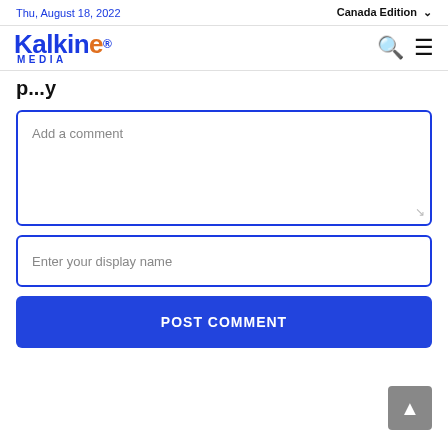Thu, August 18, 2022 | Canada Edition
[Figure (logo): Kalkine Media logo with blue stylized text]
p...y (partial, cropped)
Add a comment
Enter your display name
POST COMMENT